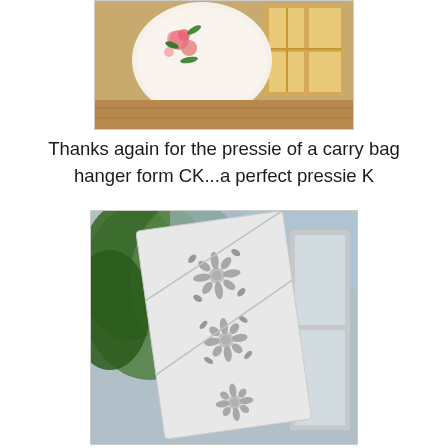[Figure (photo): Photo of a floral-printed round item (appears to be a bag or cushion) with pink flowers on white fabric, seen in a wooden interior with a window in background.]
Thanks again for the pressie of a carry bag hanger form CK...a perfect pressie K
[Figure (photo): Photo of a white decorative laser-cut hanger or panel with intricate floral/scrollwork cutout patterns, leaning against a window with green trees visible outside.]